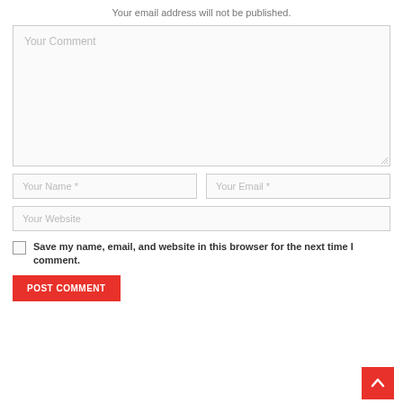Your email address will not be published.
Your Comment
Your Name *
Your Email *
Your Website
Save my name, email, and website in this browser for the next time I comment.
POST COMMENT